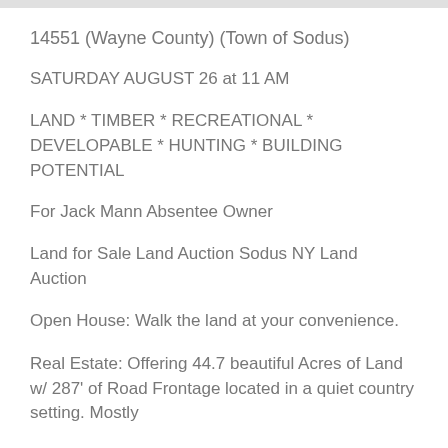14551 (Wayne County) (Town of Sodus)
SATURDAY AUGUST 26 at 11 AM
LAND * TIMBER * RECREATIONAL * DEVELOPABLE * HUNTING * BUILDING POTENTIAL
For Jack Mann Absentee Owner
Land for Sale Land Auction Sodus NY Land Auction
Open House: Walk the land at your convenience.
Real Estate: Offering 44.7 beautiful Acres of Land w/ 287' of Road Frontage located in a quiet country setting. Mostly